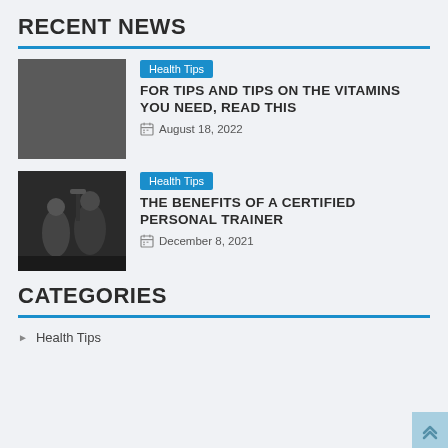RECENT NEWS
[Figure (photo): Gray placeholder thumbnail for the first news article]
Health Tips
FOR TIPS AND TIPS ON THE VITAMINS YOU NEED, READ THIS
August 18, 2022
[Figure (photo): Photo of two people exercising in a gym - a woman squatting and a man doing overhead lift]
Health Tips
THE BENEFITS OF A CERTIFIED PERSONAL TRAINER
December 8, 2021
CATEGORIES
Health Tips